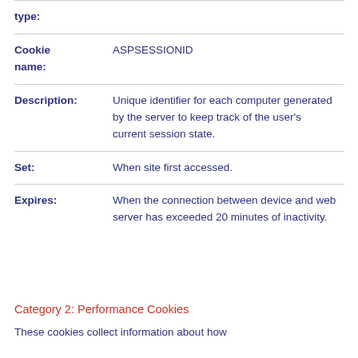| Field | Value |
| --- | --- |
| type: |  |
| Cookie name: | ASPSESSIONID |
| Description: | Unique identifier for each computer generated by the server to keep track of the user's current session state. |
| Set: | When site first accessed. |
| Expires: | When the connection between device and web server has exceeded 20 minutes of inactivity. |
Category 2: Performance Cookies
These cookies collect information about how